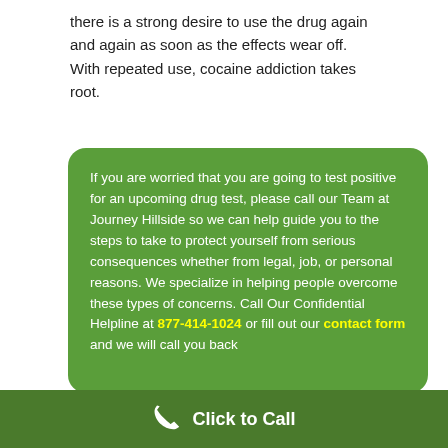there is a strong desire to use the drug again and again as soon as the effects wear off. With repeated use, cocaine addiction takes root.
If you are worried that you are going to test positive for an upcoming drug test, please call our Team at Journey Hillside so we can help guide you to the steps to take to protect yourself from serious consequences whether from legal, job, or personal reasons. We specialize in helping people overcome these types of concerns. Call Our Confidential Helpline at 877-414-1024 or fill out our contact form and we will call you back
Click to Call